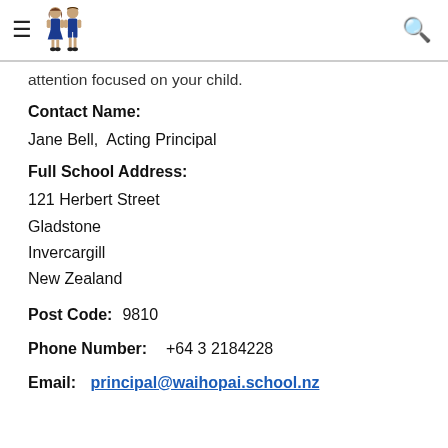≡ [logo] [search]
…appy … keeping … attention focused on your child.
Contact Name:
Jane Bell,  Acting Principal
Full School Address:
121 Herbert Street
Gladstone
Invercargill
New Zealand
Post Code:  9810
Phone Number:  +64 3 2184228
Email:  principal@waihopai.school.nz